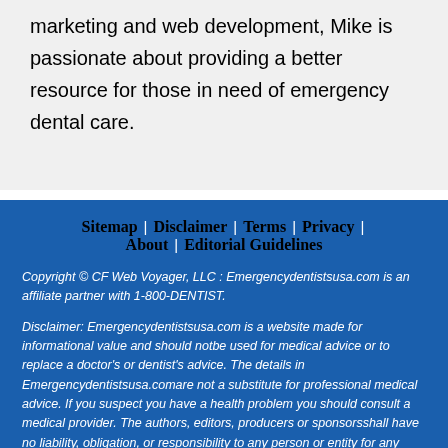marketing and web development, Mike is passionate about providing a better resource for those in need of emergency dental care.
Sitemap | Disclaimer | Terms | Privacy | About | Editorial Guidelines
Copyright © CF Web Voyager, LLC : Emergencydentistsusa.com is an affiliate partner with 1-800-DENTIST.
Disclaimer: Emergencydentistsusa.com is a website made for informational value and should notbe used for medical advice or to replace a doctor's or dentist's advice. The details in Emergencydentistsusa.comare not a substitute for professional medical advice. If you suspect you have a health problem you should consult a medical provider. The authors, editors, producers or sponsorsshall have no liability, obligation, or responsibility to any person or entity for any loss, damage oradverse consequences alleged to have happened directly or